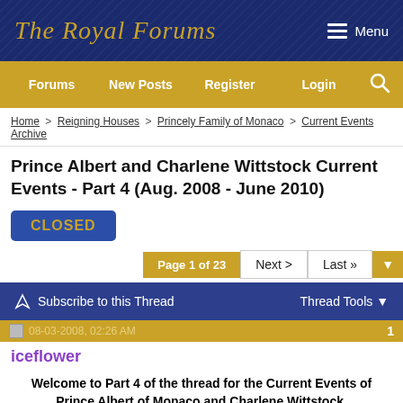The Royal Forums
Forums | New Posts | Register | Login
Home > Reigning Houses > Princely Family of Monaco > Current Events Archive
Prince Albert and Charlene Wittstock Current Events - Part 4 (Aug. 2008 - June 2010)
CLOSED
Page 1 of 23 | Next > | Last »
Subscribe to this Thread | Thread Tools
08-03-2008, 02:26 AM | 1
iceflower
Welcome to Part 4 of the thread for the Current Events of Prince Albert of Monaco and Charlene Wittstock.